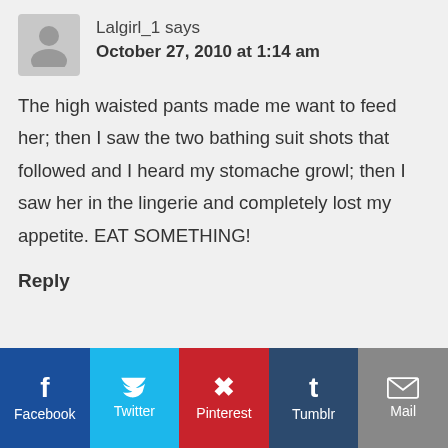Lalgirl_1 says
October 27, 2010 at 1:14 am
The high waisted pants made me want to feed her; then I saw the two bathing suit shots that followed and I heard my stomache growl; then I saw her in the lingerie and completely lost my appetite. EAT SOMETHING!
Reply
[Figure (infographic): Social share bar with Facebook, Twitter, Pinterest, Tumblr, and Mail buttons]